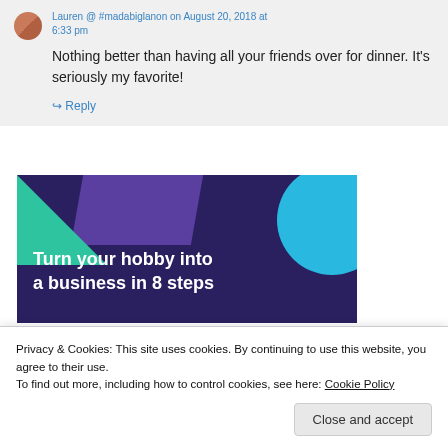Lauren @ #madabiglanon on August 20, 2018 at 6:33 pm
Nothing better than having all your friends over for dinner. It's seriously my favorite!
↳ Reply
[Figure (infographic): Dark purple banner ad with green triangle top-left, blue circle top-right, and white bold text reading 'Turn your hobby into a business in 8 steps']
Privacy & Cookies: This site uses cookies. By continuing to use this website, you agree to their use.
To find out more, including how to control cookies, see here: Cookie Policy
Close and accept